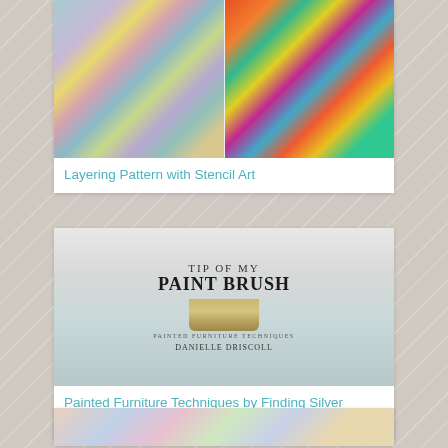[Figure (photo): Two colorful mosaic/stencil art pattern images side by side — left shows teal and multicolor quatrefoil tile pattern, right shows vibrant orange, teal, and yellow ornate pattern]
Layering Pattern with Stencil Art
[Figure (photo): Book cover: 'Tip of My Paint Brush - Painted Furniture Techniques' by Danielle Driscoll, showing a large paint brush with light blue handle]
Painted Furniture Techniques by Finding Silver Pennies
[Figure (photo): Partial view of a colorful stenciled pattern in blue, pink and teal]